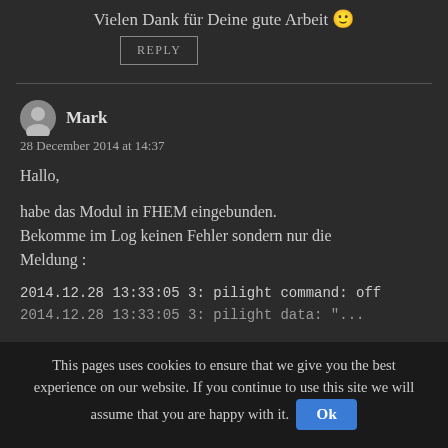Vielen Dank für Deine gute Arbeit 🙂
REPLY
Mark
28 December 2014 at 14:37
Hallo,

habe das Modul in FHEM eingebunden. Bekomme im Log keinen Fehler sondern nur die Meldung :
2014.12.28 13:33:05 3: pilight command: off
This pages uses cookies to ensure that we give you the best experience on our website. If you continue to use this site we will assume that you are happy with it.  Ok